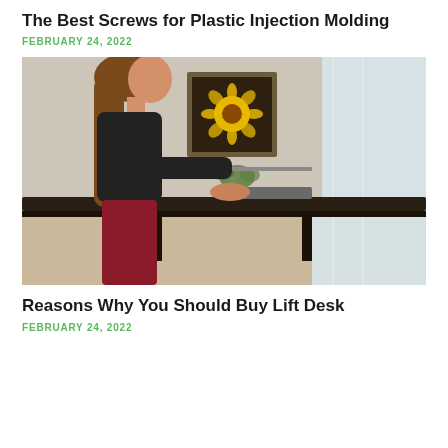The Best Screws for Plastic Injection Molding
FEBRUARY 24, 2022
[Figure (photo): A woman in a black top and dark red pants standing at a standing/lift desk, typing on a laptop. There is a framed artwork with a yellow sunflower in the background and a bright window to the right.]
Reasons Why You Should Buy Lift Desk
FEBRUARY 24, 2022